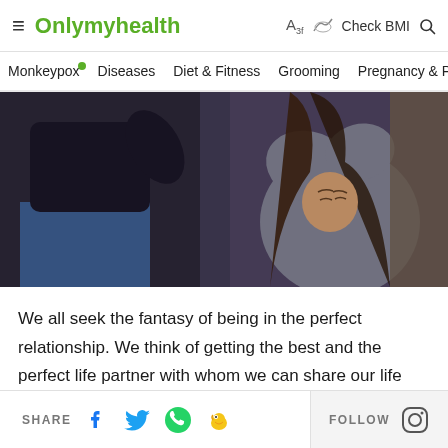Onlymyhealth — Check BMI
[Figure (screenshot): Navigation bar with menu items: Monkeypox, Diseases, Diet & Fitness, Grooming, Pregnancy & Parenting]
[Figure (photo): Woman in distress, crouching with arms raised over head, wearing grey sweater. Man standing aggressively in background.]
We all seek the fantasy of being in the perfect relationship. We think of getting the best and the perfect life partner with whom we can share our life with. Sometimes it happens, sometimes it doesn't., but all we
SHARE | FOLLOW